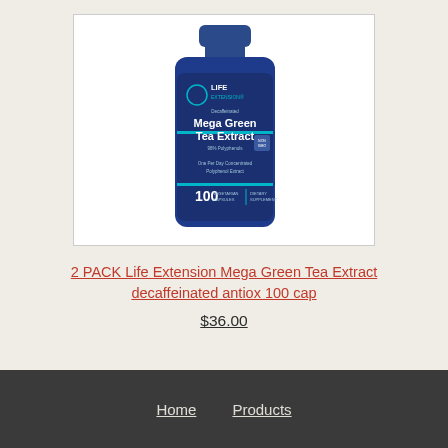[Figure (photo): Blue supplement bottle: Life Extension Decaffeinated Mega Green Tea Extract, 98% Polyphenols, One Per Day Concentrated Polyphenol Extract, 100 Vegetarian Capsules, Dietary Supplement]
2 PACK Life Extension Mega Green Tea Extract decaffeinated antiox 100 cap
$36.00
Home   Products